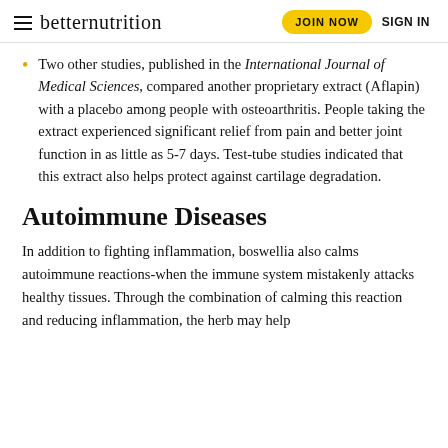betternutrition  JOIN NOW  SIGN IN
Two other studies, published in the International Journal of Medical Sciences, compared another proprietary extract (Aflapin) with a placebo among people with osteoarthritis. People taking the extract experienced significant relief from pain and better joint function in as little as 5-7 days. Test-tube studies indicated that this extract also helps protect against cartilage degradation.
Autoimmune Diseases
In addition to fighting inflammation, boswellia also calms autoimmune reactions-when the immune system mistakenly attacks healthy tissues. Through the combination of calming this reaction and reducing inflammation, the herb may help